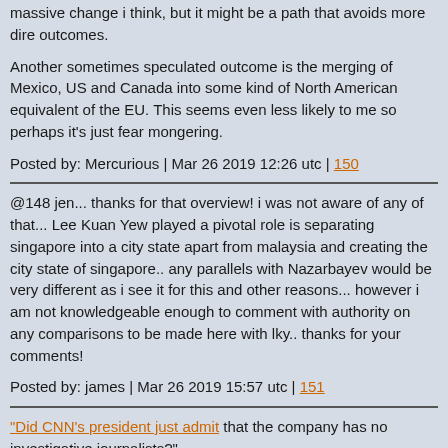massive change i think, but it might be a path that avoids more dire outcomes.
Another sometimes speculated outcome is the merging of Mexico, US and Canada into some kind of North American equivalent of the EU. This seems even less likely to me so perhaps it's just fear mongering.
Posted by: Mercurious | Mar 26 2019 12:26 utc | 150
@148 jen... thanks for that overview! i was not aware of any of that... Lee Kuan Yew played a pivotal role is separating singapore into a city state apart from malaysia and creating the city state of singapore.. any parallels with Nazarbayev would be very different as i see it for this and other reasons... however i am not knowledgeable enough to comment with authority on any comparisons to be made here with lky.. thanks for your comments!
Posted by: james | Mar 26 2019 15:57 utc | 151
"Did CNN's president just admit that the company has no investigative journalists?"
"CNN prez Jeff Zucker: 'We are not investigators. We are journalists, and our role is to report the facts as we know them, which is exactly what we did.'"